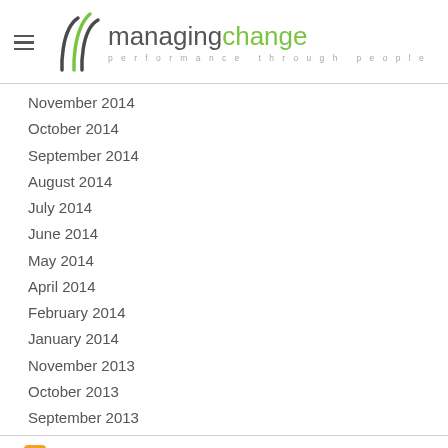managing change – performance through people
November 2014
October 2014
September 2014
August 2014
July 2014
June 2014
May 2014
April 2014
February 2014
January 2014
November 2013
October 2013
September 2013
RSS Feed